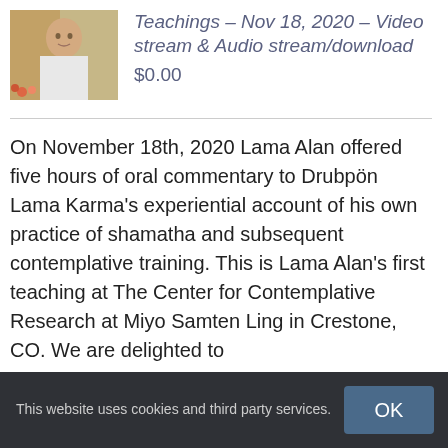[Figure (photo): Photo of Lama Alan Wallace seated, wearing white robes, with colorful background]
Teachings – Nov 18, 2020 – Video stream & Audio stream/download
$0.00
On November 18th, 2020 Lama Alan offered five hours of oral commentary to Drubpön Lama Karma's experiential account of his own practice of shamatha and subsequent contemplative training. This is Lama Alan's first teaching at The Center for Contemplative Research at Miyo Samten Ling in Crestone, CO. We are delighted to share with you the...
This website uses cookies and third party services.